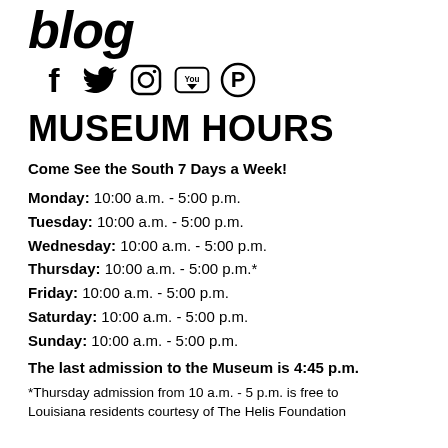blog
[Figure (illustration): Social media icons: Facebook, Twitter, Instagram, YouTube, Pinterest]
MUSEUM HOURS
Come See the South 7 Days a Week!
Monday: 10:00 a.m. - 5:00 p.m.
Tuesday: 10:00 a.m. - 5:00 p.m.
Wednesday: 10:00 a.m. - 5:00 p.m.
Thursday: 10:00 a.m. - 5:00 p.m.*
Friday: 10:00 a.m. - 5:00 p.m.
Saturday: 10:00 a.m. - 5:00 p.m.
Sunday: 10:00 a.m. - 5:00 p.m.
The last admission to the Museum is 4:45 p.m.
*Thursday admission from 10 a.m. - 5 p.m. is free to Louisiana residents courtesy of The Helis Foundation